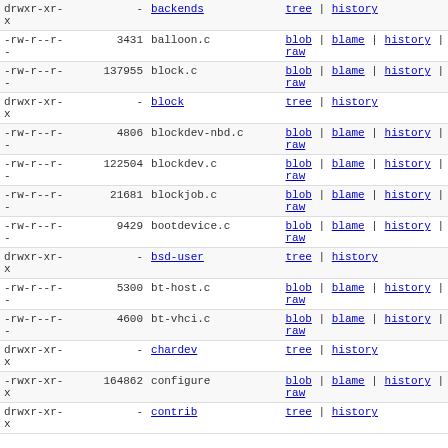| permissions | size | name | links |
| --- | --- | --- | --- |
| drwxr-xr-x | - | backends | tree | history |
| -rw-r--r-- | 3431 | balloon.c | blob | blame | history | raw |
| -rw-r--r-- | 137955 | block.c | blob | blame | history | raw |
| drwxr-xr-x | - | block | tree | history |
| -rw-r--r-- | 4806 | blockdev-nbd.c | blob | blame | history | raw |
| -rw-r--r-- | 122504 | blockdev.c | blob | blame | history | raw |
| -rw-r--r-- | 21681 | blockjob.c | blob | blame | history | raw |
| -rw-r--r-- | 9429 | bootdevice.c | blob | blame | history | raw |
| drwxr-xr-x | - | bsd-user | tree | history |
| -rw-r--r-- | 5300 | bt-host.c | blob | blame | history | raw |
| -rw-r--r-- | 4600 | bt-vhci.c | blob | blame | history | raw |
| drwxr-xr-x | - | chardev | tree | history |
| -rwxr-xr-x | 164862 | configure | blob | blame | history | raw |
| drwxr-xr-x | - | contrib | tree | history |